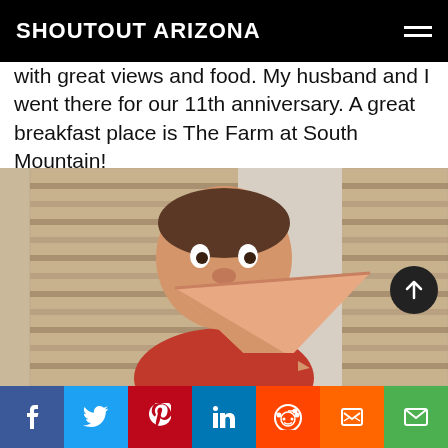SHOUTOUT ARIZONA
with great views and food. My husband and I went there for our 11th anniversary. A great breakfast place is The Farm at South Mountain!
[Figure (photo): A young child wearing a red shirt holding a large triangular piece of food (possibly pizza) up to their face, standing in front of window blinds.]
Social share buttons: Facebook, Twitter, Pinterest, LinkedIn, Reddit, Mix, Email